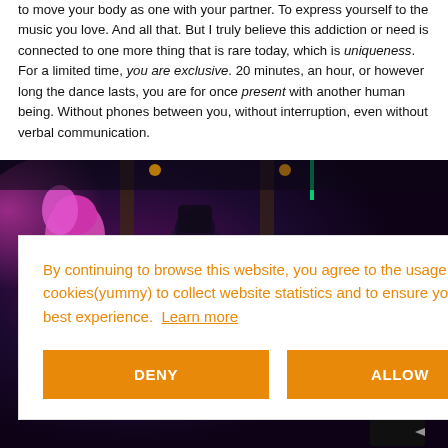to move your body as one with your partner. To express yourself to the music you love. And all that. But I truly believe this addiction or need is connected to one more thing that is rare today, which is uniqueness. For a limited time, you are exclusive. 20 minutes, an hour, or however long the dance lasts, you are for once present with another human being. Without phones between you, without interruption, even without verbal communication.
[Figure (photo): People dancing in a nightclub with purple and pink lighting]
By continuing to browse this website, you agree to the usage of cookies(yummy) to collect website statistics and to ensure you get the best experience. Learn more